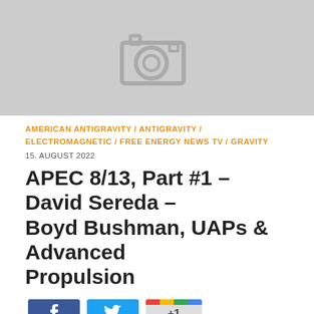[Figure (photo): Placeholder image with camera icon on grey background]
AMERICAN ANTIGRAVITY / ANTIGRAVITY / ELECTROMAGNETIC / FREE ENERGY NEWS TV / GRAVITY
15. AUGUST 2022
APEC 8/13, Part #1 – David Sereda – Boyd Bushman, UAPs & Advanced Propulsion
[Figure (screenshot): Social share buttons: Facebook, Twitter, Google+1]
https://www.altpropulsion.com – David Sereda will discuss Boyd Bushman's hypothesis for UAP propulsion and offer